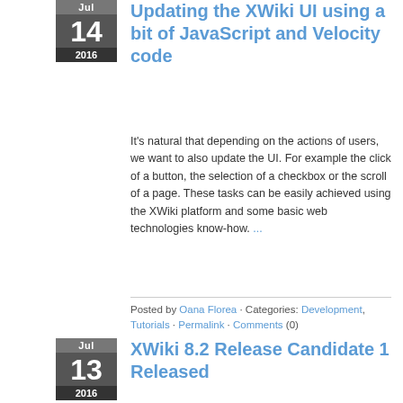Updating the XWiki UI using a bit of JavaScript and Velocity code
It's natural that depending on the actions of users, we want to also update the UI. For example the click of a button, the selection of a checkbox or the scroll of a page. These tasks can be easily achieved using the XWiki platform and some basic web technologies know-how. ...
Posted by Oana Florea · Categories: Development, Tutorials · Permalink · Comments (0)
XWiki 8.2 Release Candidate 1 Released
The XWiki development team is proud to announce the availability of XWiki 8.2 RC 1. This release integrates CKEditor as the default WYSIWYG content editor and adds a tour on the home page to describe the XWiki user interface to newcomers...